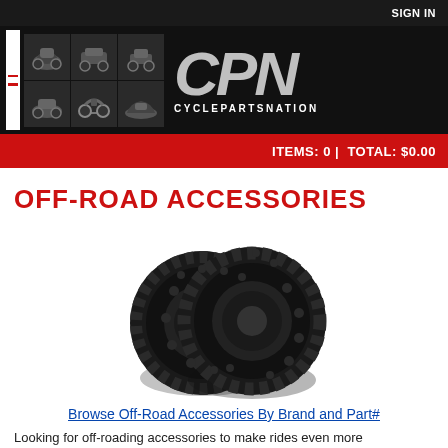SIGN IN
[Figure (logo): CyclePartsNation (CPN) logo with vehicle grid images and hamburger menu on black background]
ITEMS: 0 | TOTAL: $0.00
OFF-ROAD ACCESSORIES
[Figure (photo): Two off-road motorcycle tires with aggressive knobby tread pattern, shown standing upright side by side]
Browse Off-Road Accessories By Brand and Part#
Looking for off-reading accessories to make rides even more